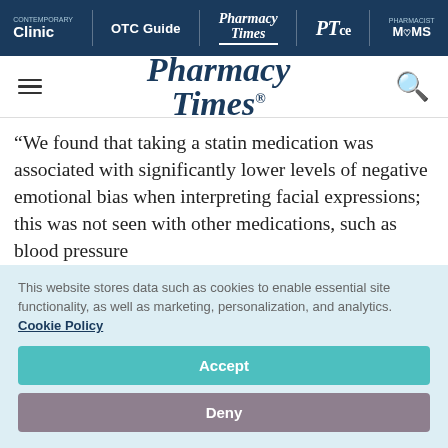Clinic | OTC Guide | Pharmacy Times | PTce | Pharmacist MOMS
[Figure (logo): Pharmacy Times logo with hamburger menu and search icon]
“We found that taking a statin medication was associated with significantly lower levels of negative emotional bias when interpreting facial expressions; this was not seen with other medications, such as blood pressure
This website stores data such as cookies to enable essential site functionality, as well as marketing, personalization, and analytics. Cookie Policy
Accept
Deny